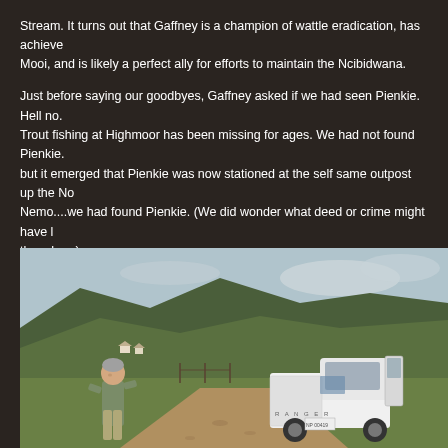Stream. It turns out that Gaffney is a champion of wattle eradication, has achieved work on the Mooi, and is likely a perfect ally for efforts to maintain the Ncibidwana.
Just before saying our goodbyes, Gaffney asked if we had seen Pienkie. Hell no. Trout fishing at Highmoor has been missing for ages. We had not found Pienkie. but it emerged that Pienkie was now stationed at the self same outpost up the No Nemo....we had found Pienkie. (We did wonder what deed or crime might have though.....)
We failed to find two of our fishing club beat markers elsewhere in the valley. The backpacks.
[Figure (photo): An older man with grey hair wearing a khaki shirt stands on a dirt road. Behind him is a white Ford Ranger pickup truck with the driver door open. The background shows green rolling hills and mountains under a cloudy sky in what appears to be a South African valley landscape.]